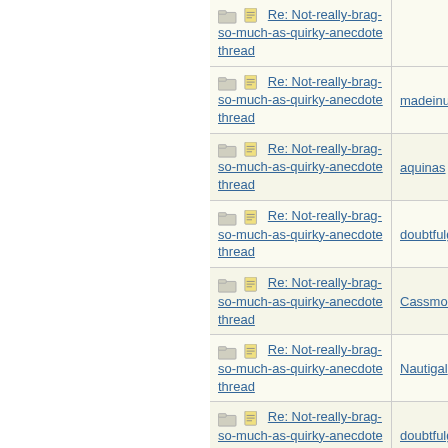| Topic | Author |
| --- | --- |
| Re: Not-really-brag-so-much-as-quirky-anecdote thread | madeinuk |
| Re: Not-really-brag-so-much-as-quirky-anecdote thread | aquinas |
| Re: Not-really-brag-so-much-as-quirky-anecdote thread | doubtfulg |
| Re: Not-really-brag-so-much-as-quirky-anecdote thread | Cassmo4 |
| Re: Not-really-brag-so-much-as-quirky-anecdote thread | Nautigal |
| Re: Not-really-brag-so-much-as-quirky-anecdote thread | doubtfulg |